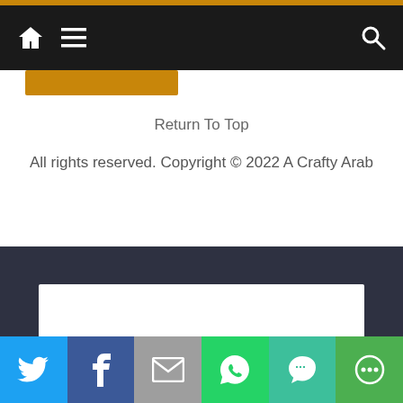Navigation bar with home icon, hamburger menu, and search icon
[Figure (screenshot): Orange rectangular button partially visible below the navigation bar]
Return To Top
All rights reserved. Copyright © 2022 A Crafty Arab
[Figure (screenshot): Dark footer section with a white advertisement box, followed by social sharing bar with Twitter, Facebook, Email, WhatsApp, SMS, and More buttons]